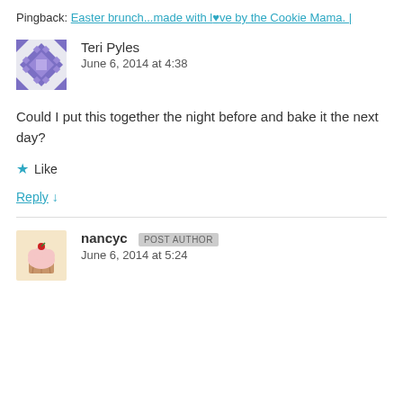Pingback: Easter brunch...made with love by the Cookie Mama. |
Teri Pyles
June 6, 2014 at 4:38
Could I put this together the night before and bake it the next day?
Like
Reply ↓
nancyc POST AUTHOR
June 6, 2014 at 5:24